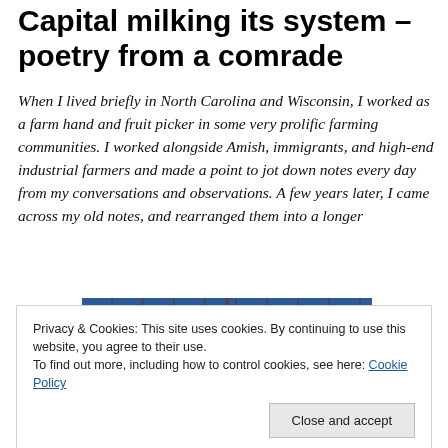Capital milking its system – poetry from a comrade
When I lived briefly in North Carolina and Wisconsin, I worked as a farm hand and fruit picker in some very prolific farming communities. I worked alongside Amish, immigrants, and high-end industrial farmers and made a point to jot down notes every day from my conversations and observations. A few years later, I came across my old notes, and rearranged them into a longer
[Figure (photo): Partial photo of packaged farm products on shelves, partially obscured by cookie consent banner]
Privacy & Cookies: This site uses cookies. By continuing to use this website, you agree to their use.
To find out more, including how to control cookies, see here: Cookie Policy
Close and accept